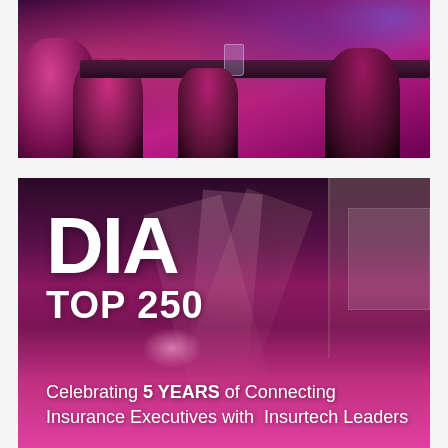[Figure (photo): Event photo showing people at a bar or lounge setting with purple/pink lighting, crowd in background]
[Figure (photo): DIA TOP 250 banner image showing a large event venue/stage with magenta/pink stage lighting, structural trusses, and a screen on the right. Large white text reads 'DIA' and 'TOP 250'. Bottom gradient fades to bright pink with text overlay.]
Celebrating 5 YEARS of Connecting Insurance Executives with Insurtech Leaders